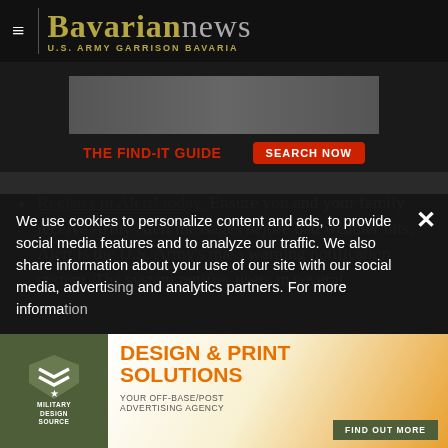Bavarian news — U.S. ARMY GARRISON BAVARIA
[Figure (screenshot): The Find-It Guide advertisement banner with a Search Now button]
Register in Alert! today. Ensure you and your family receive Army Alert messages before bad weather hits. Alert is the U.S. Army's mass warning notification system. The system notifies users in several
We use cookies to personalize content and ads, to provide social media features and to analyze our traffic. We also share information about your use of our site with our social media, advertising and analytics partners. For more information
[Figure (advertisement): Military Design Source — Design & Print Solutions, your off-base/post advertising agency. Find Out More button.]